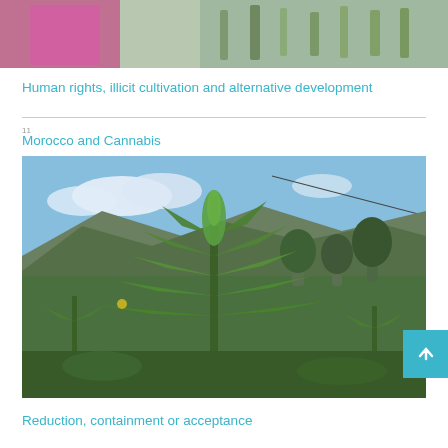[Figure (photo): Partial view of a person in pink/magenta clothing against a green background, cropped at top of page]
Human rights, illicit cultivation and alternative development
11
Morocco and Cannabis
[Figure (photo): Photograph of a tall cannabis plant in the foreground with mountainous landscape, blue sky with clouds, and dense cannabis field in the background, Morocco]
Reduction, containment or acceptance